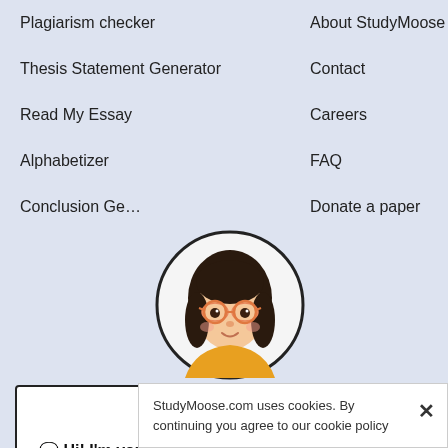Plagiarism checker
About StudyMoose
Thesis Statement Generator
Contact
Read My Essay
Careers
Alphabetizer
FAQ
Conclusion Ge…
Donate a paper
[Figure (illustration): Cartoon avatar of a young woman with dark hair, round glasses, and a yellow/orange top, shown in a circular frame.]
🔲 Hi! I'm your smart assistant Amy!
Don't know where to start? Type your requirements and I'll connect you to an academic expert within 3 minutes.
GET HELP WITH YOUR ASSIGNMENT
StudyMoose.com uses cookies. By continuing you agree to our cookie policy